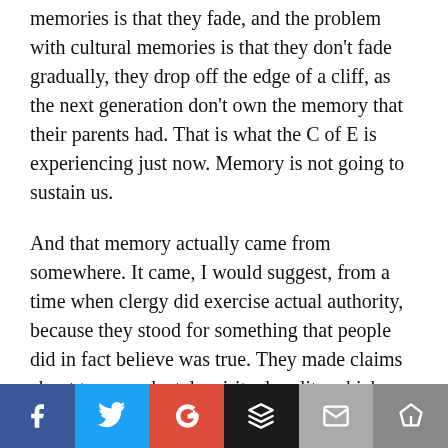memories is that they fade, and the problem with cultural memories is that they don't fade gradually, they drop off the edge of a cliff, as the next generation don't own the memory that their parents had. That is what the C of E is experiencing just now. Memory is not going to sustain us.
And that memory actually came from somewhere. It came, I would suggest, from a time when clergy did exercise actual authority, because they stood for something that people did in fact believe was true. They made claims about transcendental, spiritual reality which shaped people's lives, their habits, their ethics—and their wallets. This was why people put up the money to pay for the buildings which we now find